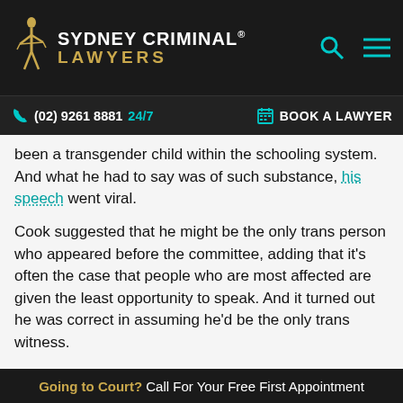SYDNEY CRIMINAL® LAWYERS
(02) 9261 8881  24/7    BOOK A LAWYER
been a transgender child within the schooling system. And what he had to say was of such substance, his speech went viral.
Cook suggested that he might be the only trans person who appeared before the committee, adding that it's often the case that people who are most affected are given the least opportunity to speak. And it turned out he was correct in assuming he'd be the only trans witness.
“One thing is for certain,” Cook said, and that is “trans
Going to Court? Call For Your Free First Appointment